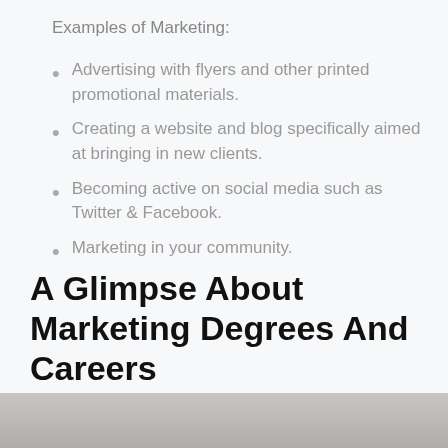Examples of Marketing:
Advertising with flyers and other printed promotional materials.
Creating a website and blog specifically aimed at bringing in new clients.
Becoming active on social media such as Twitter & Facebook.
Marketing in your community.
A Glimpse About Marketing Degrees And Careers
[Figure (photo): Partial view of a photo at the bottom of the page, showing hands or a desk scene.]